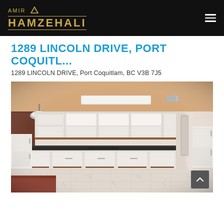AMIR HAMZEHALI
1289 LINCOLN DRIVE, PORT COQUITL...
1289 LINCOLN DRIVE, Port Coquitlam, BC V3B 7J5
[Figure (photo): Interior photo of a basement kitchen with white cabinets, dark countertops, and light patterned flooring]